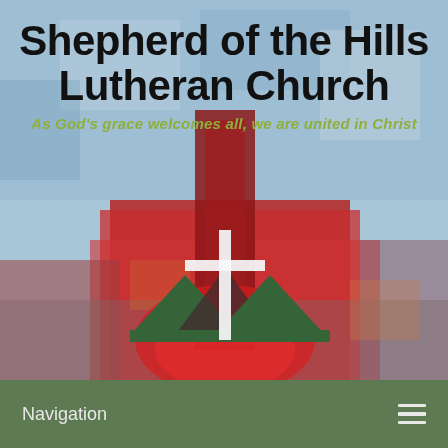[Figure (illustration): Abstract painted background with blue sky tones at top and red/crimson tones at bottom center, featuring a stylized church logo with a white cross, dark red spire, and three green mountain/hill triangles below the cross, painted in an impressionistic style]
Shepherd of the Hills Lutheran Church
As God's grace welcomes all, we are united in Christ
Navigation